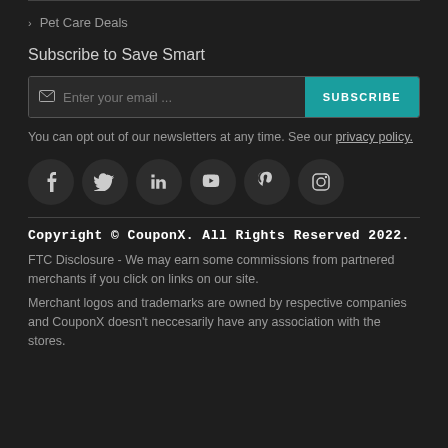› Pet Care Deals
Subscribe to Save Smart
Enter your email ... SUBSCRIBE
You can opt out of our newsletters at any time. See our privacy policy.
[Figure (infographic): Social media icons: Facebook, Twitter, LinkedIn, YouTube, Pinterest, Instagram]
Copyright © CouponX. All Rights Reserved 2022.
FTC Disclosure - We may earn some commissions from partnered merchants if you click on links on our site.
Merchant logos and trademarks are owned by respective companies and CouponX doesn't neccesarily have any association with the stores.